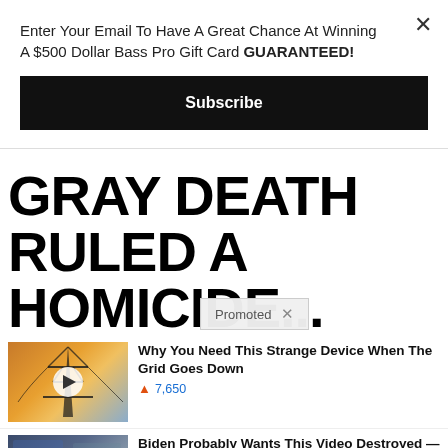Enter Your Email To Have A Great Chance At Winning A $500 Dollar Bass Pro Gift Card GUARANTEED!
Subscribe
GRAY DEATH RULED A HOMICIDE... Police Charged With Murder,
Promoted
[Figure (screenshot): Thumbnail of power tower with orange sky background and play button]
Why You Need This Strange Device When The Grid Goes Down
🔥 7,650
[Figure (screenshot): Thumbnail of news studio/interview scene with play button]
Biden Probably Wants This Video Destroyed — Massive Currency Upheaval Has Started
🔥 82,434